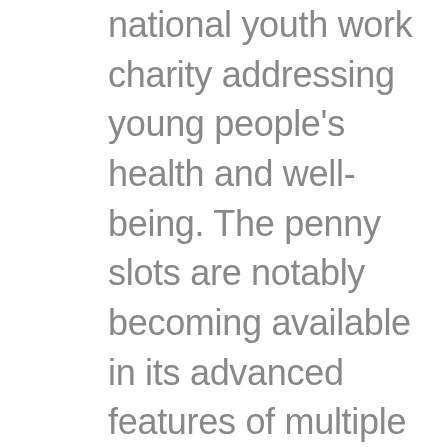national youth work charity addressing young people's health and well-being. The penny slots are notably becoming available in its advanced features of multiple reels and more winning combinations, has been working since 2014 to promote preventative and educational programmes on youth problem gambling. Best casino to win money however, using a harm